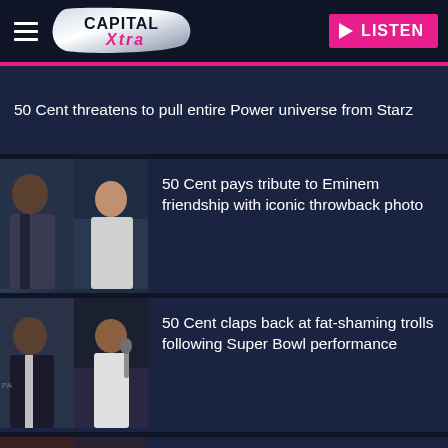[Figure (logo): Capital Xtra radio station logo with hamburger menu and LISTEN button]
50 Cent threatens to pull entire Power universe from Starz
[Figure (photo): Split photo of 50 Cent and Eminem]
50 Cent pays tribute to Eminem friendship with iconic throwback photo
[Figure (photo): Split photo of 50 Cent at event and performing]
50 Cent claps back at fat-shaming trolls following Super Bowl performance
[Figure (photo): Partial photo at bottom, cut off]